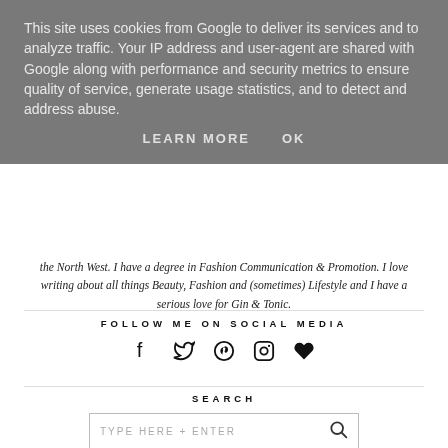This site uses cookies from Google to deliver its services and to analyze traffic. Your IP address and user-agent are shared with Google along with performance and security metrics to ensure quality of service, generate usage statistics, and to detect and address abuse.
LEARN MORE   OK
the North West. I have a degree in Fashion Communication & Promotion. I love writing about all things Beauty, Fashion and (sometimes) Lifestyle and I have a serious love for Gin & Tonic.
FOLLOW ME ON SOCIAL MEDIA
[Figure (other): Social media icons: Facebook, Twitter, Pinterest, Instagram, Bloglovin/heart]
SEARCH
TYPE HERE + ENTER
ARCHIVE